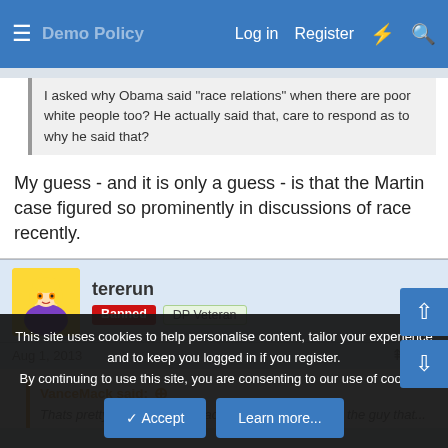Log in  Register
I asked why Obama said "race relations" when there are poor white people too? He actually said that, care to respond as to why he said that?
My guess - and it is only a guess - is that the Martin case figured so prominently in discussions of race recently.
tererun
Banned  DP Veteran
Aug 1, 2013  #15
VanceMack said:
Thats pretty funny. 97% of black Americans voted for the guy that...
This site uses cookies to help personalise content, tailor your experience and to keep you logged in if you register.
By continuing to use this site, you are consenting to our use of cookies.